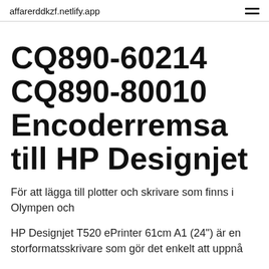affarerddkzf.netlify.app
CQ890-60214 CQ890-80010 Encoderremsa till HP Designjet
För att lägga till plotter och skrivare som finns i Olympen och
HP Designjet T520 ePrinter 61cm A1 (24") är en storformatsskrivare som gör det enkelt att uppnå